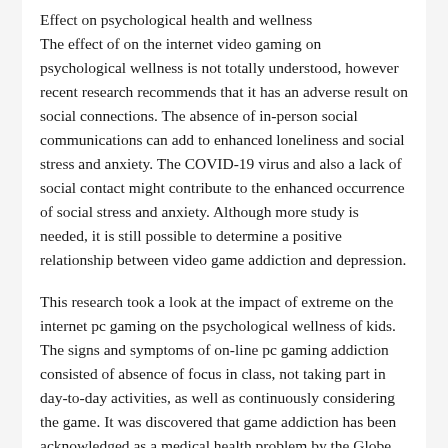Effect on psychological health and wellness
The effect of on the internet video gaming on psychological wellness is not totally understood, however recent research recommends that it has an adverse result on social connections. The absence of in-person social communications can add to enhanced loneliness and social stress and anxiety. The COVID-19 virus and also a lack of social contact might contribute to the enhanced occurrence of social stress and anxiety. Although more study is needed, it is still possible to determine a positive relationship between video game addiction and depression.
This research took a look at the impact of extreme on the internet pc gaming on the psychological wellness of kids. The signs and symptoms of on-line pc gaming addiction consisted of absence of focus in class, not taking part in day-to-day activities, as well as continuously considering the game. It was discovered that game addiction has been acknowledged as a medical health problem by the Globe